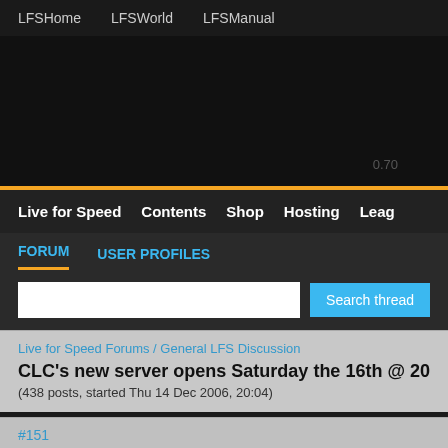LFSHome   LFSWorld   LFSManual
[Figure (screenshot): Dark banner area with version number 0.70]
Live for Speed   Contents   Shop   Hosting   Leag
FORUM   USER PROFILES
Search thread (input field and button)
Live for Speed Forums / General LFS Discussion
CLC's new server opens Saturday the 16th @ 20:00 GM
(438 posts, started Thu 14 Dec 2006, 20:04)
#151